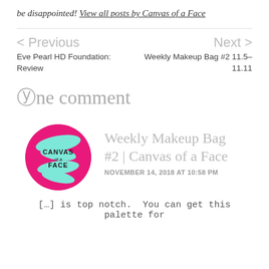be disappointed! View all posts by Canvas of a Face
< Previous
Eve Pearl HD Foundation: Review
Next >
Weekly Makeup Bag #2 11.5-11.11
One comment
[Figure (logo): Round pink logo with teal brush strokes and text CANVAS of a FACE in the center]
Weekly Makeup Bag #2 | Canvas of a Face
NOVEMBER 14, 2018 AT 10:58 PM
[…] is top notch.  You can get this palette for